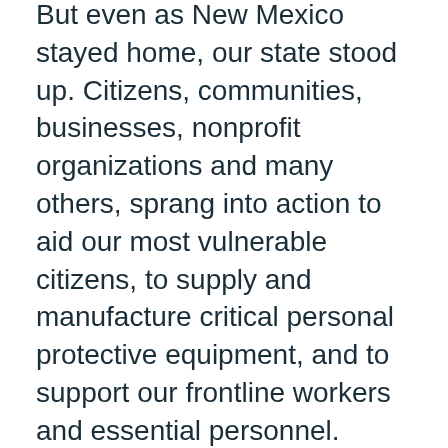But even as New Mexico stayed home, our state stood up. Citizens, communities, businesses, nonprofit organizations and many others, sprang into action to aid our most vulnerable citizens, to supply and manufacture critical personal protective equipment, and to support our frontline workers and essential personnel.
Partnering with New Mexico's Coalition of Community Foundations, Gov. Michelle Lujan Grisham led an effort to quickly mobilize and coordinate the All Together New Mexico Fund to help address immediate and long-term needs in support of pandemic recovery efforts across our state. The New Mexico Oil and Gas Association's community fund, the Brighter Future Fund, followed their lead in targeting resources and fighting the pandemic across our state.